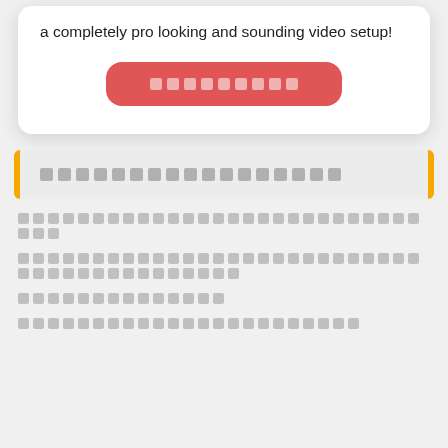a completely pro looking and sounding video setup!
[Figure (other): Red rounded rectangle button with placeholder text blocks]
[redacted section header]
[redacted list item 1]
[redacted list item 2]
[redacted list item 3]
[redacted list item 4]